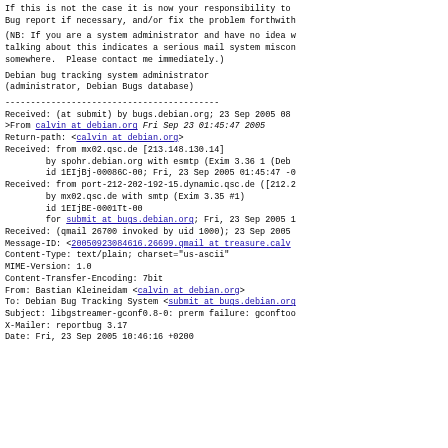If this is not the case it is now your responsibility to
Bug report if necessary, and/or fix the problem forthwith
(NB: If you are a system administrator and have no idea w
talking about this indicates a serious mail system miscon
somewhere.  Please contact me immediately.)
Debian bug tracking system administrator
(administrator, Debian Bugs database)
------------------------------------------
Received: (at submit) by bugs.debian.org; 23 Sep 2005 08
>From calvin at debian.org Fri Sep 23 01:45:47 2005
Return-path: <calvin at debian.org>
Received: from mx02.qsc.de [213.148.130.14]
        by spohr.debian.org with esmtp (Exim 3.36 1 (Deb
        id 1EIjBj-00086C-00; Fri, 23 Sep 2005 01:45:47 -0
Received: from port-212-202-192-15.dynamic.qsc.de ([212.2
        by mx02.qsc.de with smtp (Exim 3.35 #1)
        id 1EIjBE-0001Tt-00
        for submit at bugs.debian.org; Fri, 23 Sep 2005 1
Received: (qmail 26700 invoked by uid 1000); 23 Sep 2005
Message-ID: <20050923084616.26699.qmail at treasure.calv
Content-Type: text/plain; charset="us-ascii"
MIME-Version: 1.0
Content-Transfer-Encoding: 7bit
From: Bastian Kleineidam <calvin at debian.org>
To: Debian Bug Tracking System <submit at bugs.debian.or
Subject: libgstreamer-gconf0.8-0: prerm failure: gconftoo
X-Mailer: reportbug 3.17
Date: Fri, 23 Sep 2005 10:46:16 +0200